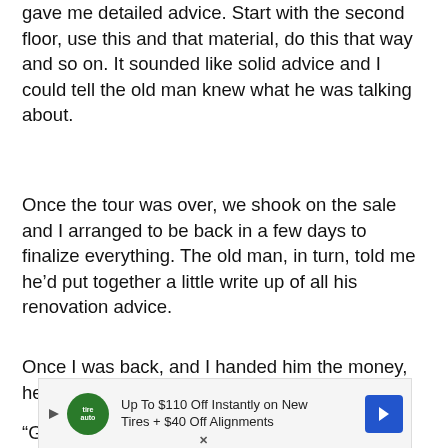gave me detailed advice. Start with the second floor, use this and that material, do this that way and so on. It sounded like solid advice and I could tell the old man knew what he was talking about.
Once the tour was over, we shook on the sale and I arranged to be back in a few days to finalize everything. The old man, in turn, told me he'd put together a little write up of all his renovation advice.
Once I was back, and I handed him the money, he sighed again.
“Guess there’s one last thing I’ve got to tell you. This place, well, it’s got a history.”
[Figure (other): Advertisement banner: Up To $110 Off Instantly on New Tires + $40 Off Alignments with tire auto logo and blue arrow icon]